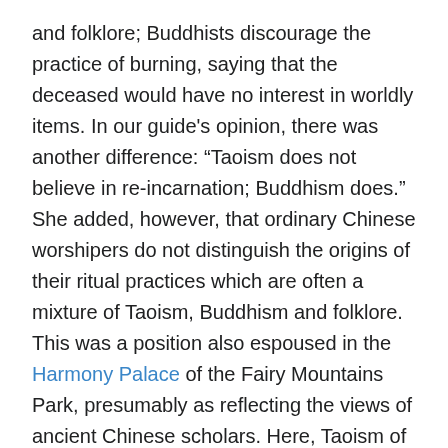and folklore; Buddhists discourage the practice of burning, saying that the deceased would have no interest in worldly items. In our guide's opinion, there was another difference: “Taoism does not believe in re-incarnation; Buddhism does.” She added, however, that ordinary Chinese worshipers do not distinguish the origins of their ritual practices which are often a mixture of Taoism, Buddhism and folklore. This was a position also espoused in the Harmony Palace of the Fairy Mountains Park, presumably as reflecting the views of ancient Chinese scholars. Here, Taoism of Laozi (571-531 BC), Buddhism of Sakyamuni Buddha (563-480 BC) and the teaching of Confucius (551-479 BC) were all honored, as each of those sages contributed a different part to an integrated harmony. Laozi’s part is the harmony between human and nature, Buddha’s is the harmony between human and ego, and